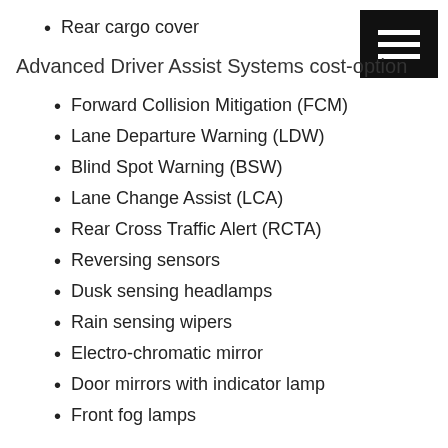Rear cargo cover
Advanced Driver Assist Systems cost-option
Forward Collision Mitigation (FCM)
Lane Departure Warning (LDW)
Blind Spot Warning (BSW)
Lane Change Assist (LCA)
Rear Cross Traffic Alert (RCTA)
Reversing sensors
Dusk sensing headlamps
Rain sensing wipers
Electro-chromatic mirror
Door mirrors with indicator lamp
Front fog lamps
LS adds: